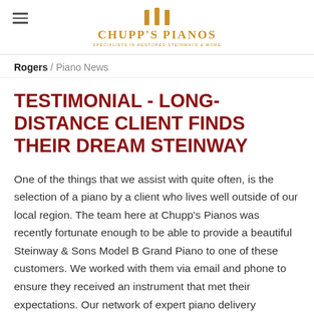Chupp's Pianos
Rogers / Piano News
TESTIMONIAL - LONG-DISTANCE CLIENT FINDS THEIR DREAM STEINWAY
One of the things that we assist with quite often, is the selection of a piano by a client who lives well outside of our local region. The team here at Chupp's Pianos was recently fortunate enough to be able to provide a beautiful Steinway & Sons Model B Grand Piano to one of these customers. We worked with them via email and phone to ensure they received an instrument that met their expectations. Our network of expert piano delivery specialists allows us to deliver across the entire country - and even overseas! They